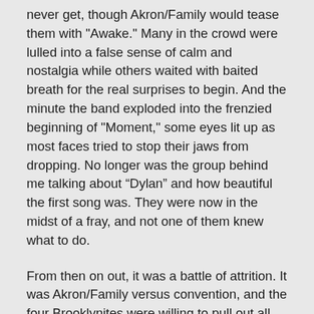never get, though Akron/Family would tease them with "Awake." Many in the crowd were lulled into a false sense of calm and nostalgia while others waited with baited breath for the real surprises to begin. And the minute the band exploded into the frenzied beginning of "Moment," some eyes lit up as most faces tried to stop their jaws from dropping. No longer was the group behind me talking about “Dylan” and how beautiful the first song was. They were now in the midst of a fray, and not one of them knew what to do.
From then on out, it was a battle of attrition. It was Akron/Family versus convention, and the four Brooklynites were willing to pull out all the stops as the crowd quickly melted into their hands. Whatever the band wanted, they received. The band teased the crowd with haunting